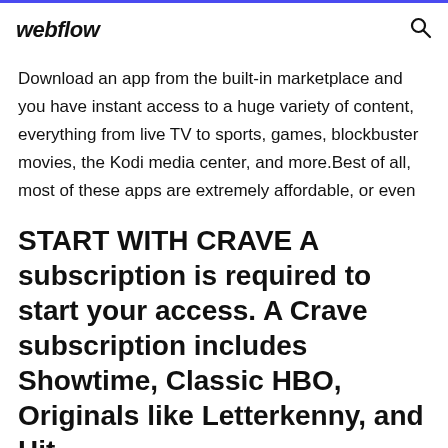webflow
Download an app from the built-in marketplace and you have instant access to a huge variety of content, everything from live TV to sports, games, blockbuster movies, the Kodi media center, and more.Best of all, most of these apps are extremely affordable, or even
START WITH CRAVE A subscription is required to start your access. A Crave subscription includes Showtime, Classic HBO, Originals like Letterkenny, and Hit